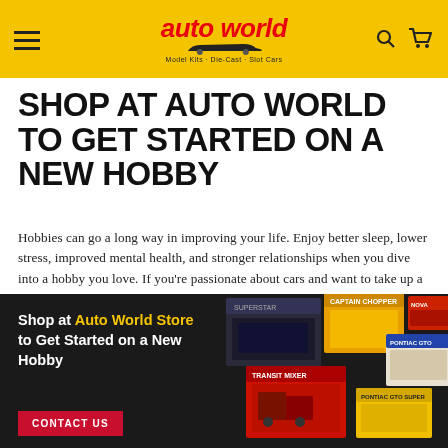auto world — Model Kits · Die-Cast · Slot Cars
SHOP AT AUTO WORLD TO GET STARTED ON A NEW HOBBY
Hobbies can go a long way in improving your life. Enjoy better sleep, lower stress, improved mental health, and stronger relationships when you dive into a hobby you love. If you're passionate about cars and want to take up a meaningful hobby, consider a hobby like building model cars or racing slot cars as a productive way to spend your free time. Check us out at Auto World today!
[Figure (photo): Dark banner with model car kit boxes on right side. Left side text: Shop at Auto World Store to Get Started on a New Hobby, with a red CONTACT US button.]